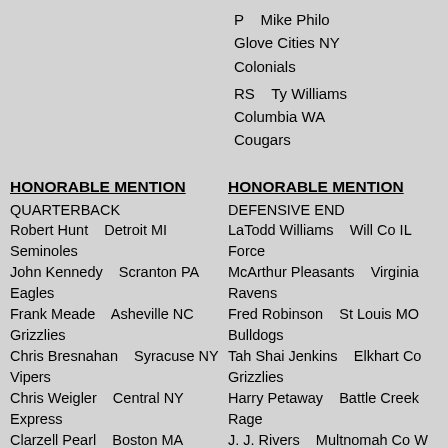P    Mike Philo  Glove Cities NY Colonials
RS   Ty Williams  Columbia WA Cougars
HONORABLE MENTION
QUARTERBACK
Robert Hunt    Detroit MI Seminoles
John Kennedy    Scranton PA Eagles
Frank Meade    Asheville NC Grizzlies
Chris Bresnahan    Syracuse NY Vipers
Chris Weigler    Central NY Express
Clarzell Pearl    Boston MA Bandits
Derek Johnson    Multnomah Co
HONORABLE MENTION
DEFENSIVE END
LaTodd Williams    Will Co IL Force
McArthur Pleasants    Virginia Ravens
Fred Robinson    St Louis MO Bulldogs
Tah Shai Jenkins    Elkhart Co Grizzlies
Harry Petaway    Battle Creek Rage
J. J. Rivers    Multnomah Co W Bucs